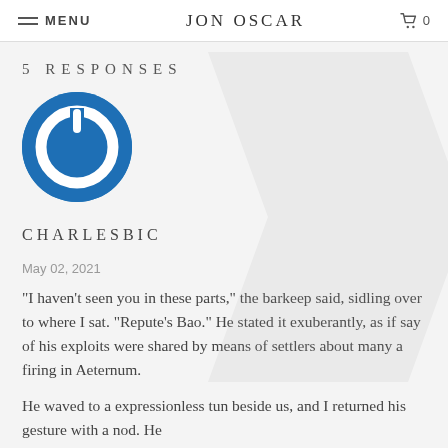MENU  JON OSCAR  0
5 RESPONSES
[Figure (logo): Blue circular power button icon — a white circle ring with a white power symbol line at the top, on a blue filled circle background]
CHARLESBIC
May 02, 2021
"I haven't seen you in these parts," the barkeep said, sidling over to where I sat. "Repute's Bao." He stated it exuberantly, as if say of his exploits were shared by means of settlers about many a firing in Aeternum.
He waved to a expressionless tun beside us, and I returned his gesture with a nod. He